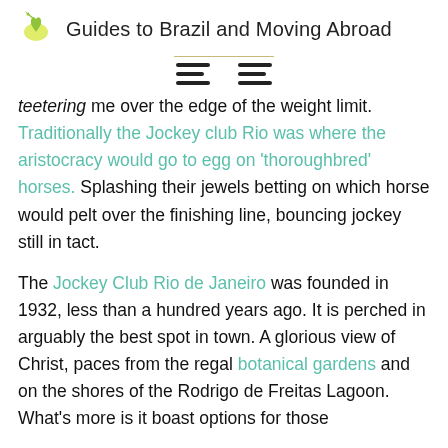Guides to Brazil and Moving Abroad
teetering me over the edge of the weight limit. Traditionally the Jockey club Rio was where the aristocracy would go to egg on 'thoroughbred' horses. Splashing their jewels betting on which horse would pelt over the finishing line, bouncing jockey still in tact.
The Jockey Club Rio de Janeiro was founded in 1932, less than a hundred years ago. It is perched in arguably the best spot in town. A glorious view of Christ, paces from the regal botanical gardens and on the shores of the Rodrigo de Freitas Lagoon. What's more is it boast options for those